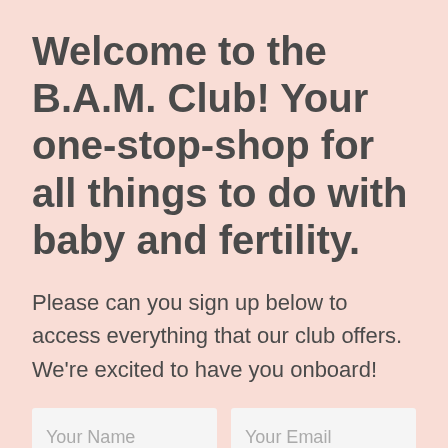Welcome to the B.A.M. Club! Your one-stop-shop for all things to do with baby and fertility.
Please can you sign up below to access everything that our club offers. We're excited to have you onboard!
[Figure (other): Sign-up form fields: 'Your Name' text input and 'Your Email' text input arranged side by side]